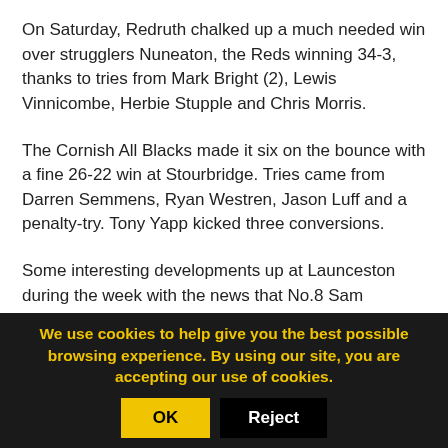On Saturday, Redruth chalked up a much needed win over strugglers Nuneaton, the Reds winning 34-3, thanks to tries from Mark Bright (2), Lewis Vinnicombe, Herbie Stupple and Chris Morris.
The Cornish All Blacks made it six on the bounce with a fine 26-22 win at Stourbridge. Tries came from Darren Semmens, Ryan Westren, Jason Luff and a penalty-try. Tony Yapp kicked three conversions.
Some interesting developments up at Launceston during the week with the news that No.8 Sam Hocking and scrum-half Ed Lewsey were both off on loan to Plymouth Albion. Whilst the initial loan period is for one month only, Jon Hill in his statement seemed to concede the likelihood that Hocking would probably be moving to a
We use cookies to help give you the best possible browsing experience. By using our site, you are accepting our use of cookies.